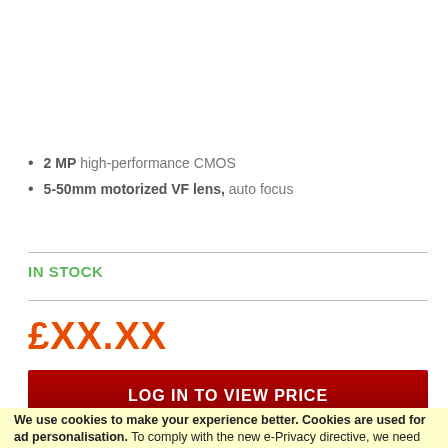2 MP high-performance CMOS
5-50mm motorized VF lens, auto focus
IN STOCK
£XX.XX
LOG IN TO VIEW PRICE
We use cookies to make your experience better. Cookies are used for ad personalisation. To comply with the new e-Privacy directive, we need to ask for your consent to set the cookies. Learn more.
Allow Cookies